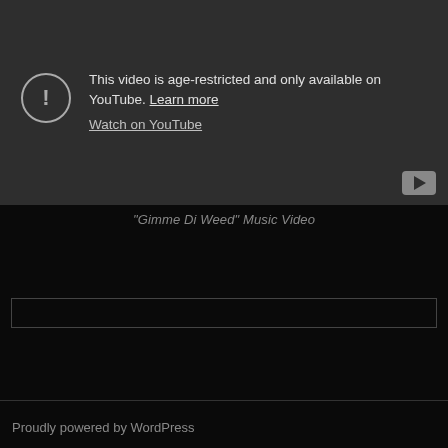[Figure (screenshot): YouTube embedded video player showing age-restricted content warning with exclamation icon, message 'This video is age-restricted and only available on YouTube. Learn more', and 'Watch on YouTube' link. YouTube logo in bottom-right corner.]
"Gimme Di Weed" Music Video
[Figure (other): Empty search/input box with dark border]
Proudly powered by WordPress